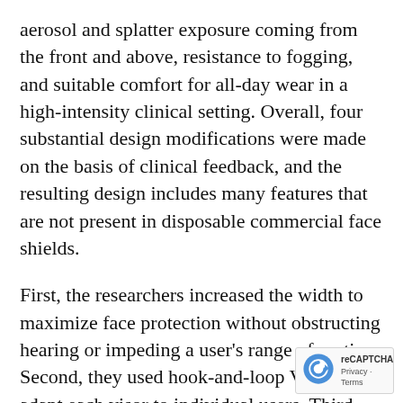aerosol and splatter exposure coming from the front and above, resistance to fogging, and suitable comfort for all-day wear in a high-intensity clinical setting. Overall, four substantial design modifications were made on the basis of clinical feedback, and the resulting design includes many features that are not present in disposable commercial face shields.
First, the researchers increased the width to maximize face protection without obstructing hearing or impeding a user's range of motion. Second, they used hook-and-loop Velcro to adapt each visor to individual users. Third, they reduced tightness by placing anchor points for th hook-and-loop strap in-line with the
[Figure (logo): reCAPTCHA logo with Privacy and Terms text]